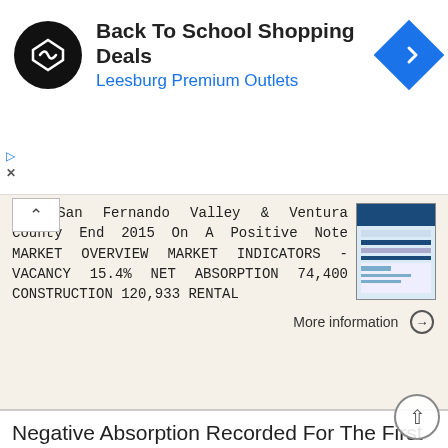[Figure (screenshot): Ad banner for Back To School Shopping Deals at Leesburg Premium Outlets with logo and navigation icon]
ORT San Fernando Valley & Ventura County End 2015 On A Positive Note MARKET OVERVIEW MARKET INDICATORS - VACANCY 15.4% NET ABSORPTION 74,400 CONSTRUCTION 120,933 RENTAL
More information →
Negative Absorption Recorded For The First Time In Past Nine Quarters
OFFICE SAN FERNANDO & VENTURA MARKET REPORT Negative Absorption Recorded For The First Time In Past Nine Quarters MARKET OVERVIEW MARKET INDICATORS - VACANCY 15.6% NET ABSORPTION -124,000 CONSTRUCTION